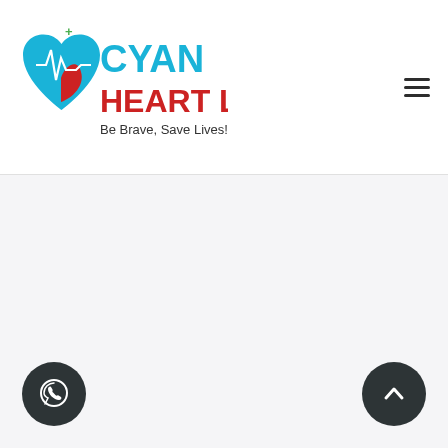[Figure (logo): Cyan Heart Ltd. logo with heart ECG graphic and tagline 'Be Brave, Save Lives!']
[Figure (other): Hamburger menu icon (three horizontal bars) in top-right corner]
[Figure (other): WhatsApp floating action button (dark circle with WhatsApp phone/chat icon) in bottom-left]
[Figure (other): Scroll-to-top floating action button (dark circle with upward chevron) in bottom-right]